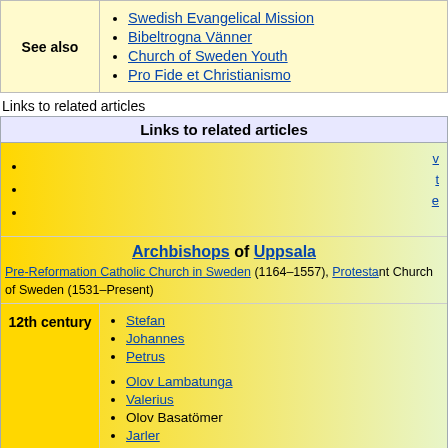| See also | Links |
| --- | --- |
| See also | Swedish Evangelical Mission, Bibeltrogna Vänner, Church of Sweden Youth, Pro Fide et Christianismo |
Links to related articles
| Links to related articles |
| --- |
| (bullets with y, t, e links) |
| Archbishops of Uppsala |
| Pre-Reformation Catholic Church in Sweden (1164–1557), Protestant Church of Sweden (1531–Present) |
| 12th century | Stefan, Johannes, Petrus |
| (13th century) | Olov Lambatunga, Valerius, Olov Basatömer, Jarler, Lars, Folke Johansson Ängel |